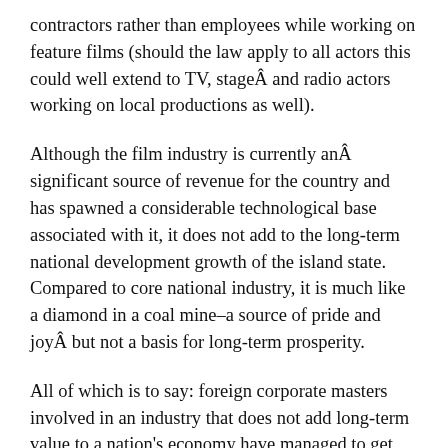contractors rather than employees while working on feature films (should the law apply to all actors this could well extend to TV, stageÂ and radio actors working on local productions as well).
Although the film industry is currently anÂ significant source of revenue for the country and has spawned a considerable technological base associated with it, it does not add to the long-term national development growth of the island state. Compared to core national industry, it is much like a diamond in a coal mine–a source of pride and joyÂ but not a basis for long-term prosperity.
All of which is to say: foreign corporate masters involved in an industry that does not add long-term value to a nation's economy have managed to get the island country's leaders to bow before them in order to secure short term economic gain for a small local industry with limited direct ancilliary impact and a more hypothetical than concete follow on